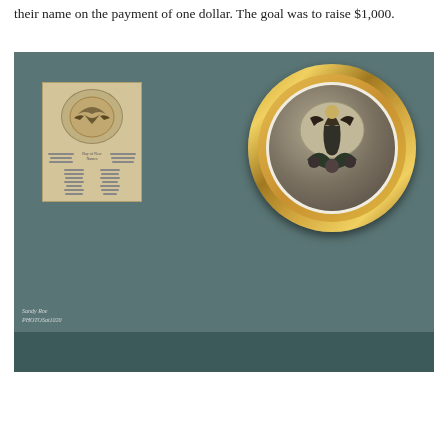their name on the payment of one dollar. The goal was to raise $1,000.
[Figure (photo): Photograph showing two objects on a teal/grey fabric background: on the left, a flat aged paper document with an eagle emblem and a list of names/text columns; on the right, a round gilded ornate gold frame containing a decorative plate or artwork depicting an eagle with floral motifs. A watermark reading 'Sandy Roe PHOTOSat1020' appears in the lower left of the photo.]
Photo Credit: Sandy Roe
Photos @ 1020
Onondaga Historical Association
Amusing Planet